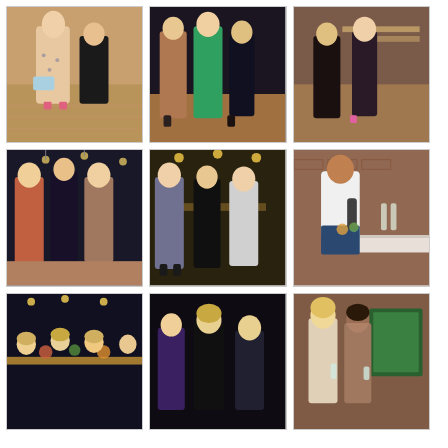[Figure (photo): Two women posing at an indoor event, one in a floral dress holding a light blue clutch bag, wood floor visible]
[Figure (photo): Three women posing together at an event, one in brown/rust outfit, one in teal dress, one in black outfit]
[Figure (photo): Two women posing in a restaurant setting with long tables in background, both in dark outfits]
[Figure (photo): Three women posing at indoor party, one in pink-red outfit, one in black floral dress, one in rust/brown dress]
[Figure (photo): Three women posing together in dark restaurant setting, one in silver/grey jacket, one in black, one in light grey]
[Figure (photo): Man in white sweater and jeans holding a bottle at a marble bar counter with flowers]
[Figure (photo): Group of women seated at a long dinner table with floral centerpieces in dark restaurant]
[Figure (photo): Women standing in dark venue, one in black halter top, others around her]
[Figure (photo): Two women posing together in front of a picture frame, brick wall background]